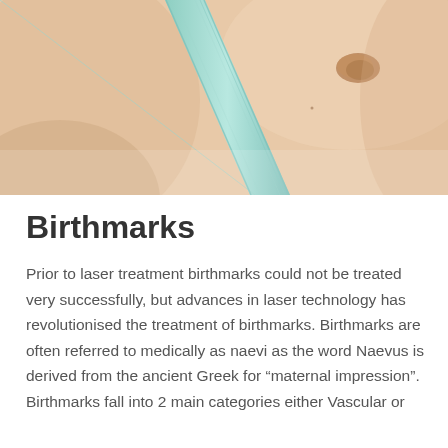[Figure (photo): Close-up photo of a person's back/shoulder area showing skin with a brownish birthmark (naevus) visible in the upper right area, and a teal/mint colored bra strap running diagonally across the center of the image.]
Birthmarks
Prior to laser treatment birthmarks could not be treated very successfully, but advances in laser technology has revolutionised the treatment of birthmarks. Birthmarks are often referred to medically as naevi as the word Naevus is derived from the ancient Greek for “maternal impression”. Birthmarks fall into 2 main categories either Vascular or